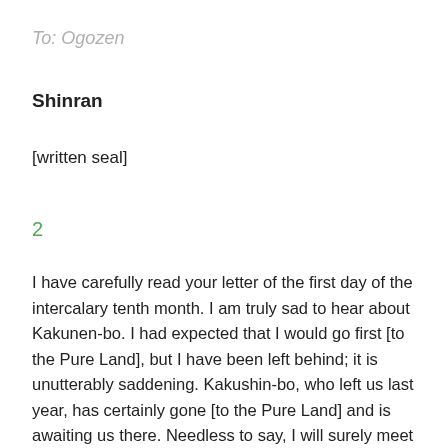To: Ogozen
Shinran
[written seal]
2
I have carefully read your letter of the first day of the intercalary tenth month. I am truly sad to hear about Kakunen-bo. I had expected that I would go first [to the Pure Land], but I have been left behind; it is unutterably saddening. Kakushin-bo, who left us last year, has certainly gone [to the Pure Land] and is awaiting us there. Needless to say, I will surely meet them there; it is beyond words. Kakunen-bo's words did not differ at all from what I have said, so we will certainly go to the same place [, the Pure Land]. If I am still alive in the tenth month of next year, it will undoubtedly be possible